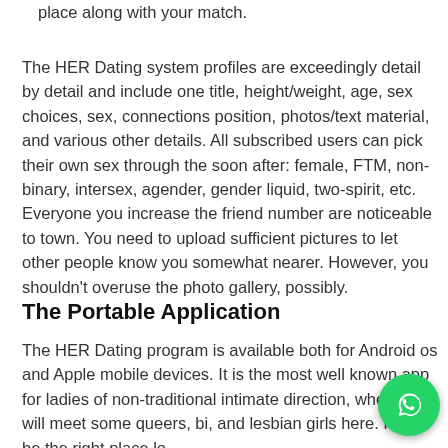place along with your match.
The HER Dating system profiles are exceedingly detail by detail and include one title, height/weight, age, sex choices, sex, connections position, photos/text material, and various other details. All subscribed users can pick their own sex through the soon after: female, FTM, non-binary, intersex, agender, gender liquid, two-spirit, etc. Everyone you increase the friend number are noticeable to town. You need to upload sufficient pictures to let other people know you somewhat nearer. However, you shouldn’t overuse the photo gallery, possibly.
The Portable Application
The HER Dating program is available both for Android os and Apple mobile devices. It is the most well known app for ladies of non-traditional intimate direction, where you will meet some queers, bi, and lesbian girls here. It will be the right place lo…